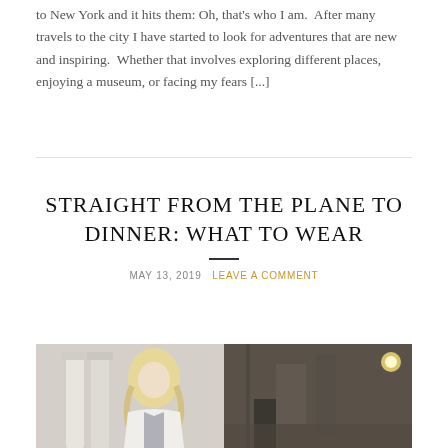to New York and it hits them: Oh, that's who I am.  After many travels to the city I have started to look for adventures that are new and inspiring.  Whether that involves exploring different places, enjoying a museum, or facing my fears [...]
STRAIGHT FROM THE PLANE TO DINNER: WHAT TO WEAR
MAY 13, 2019   LEAVE A COMMENT
[Figure (photo): A blonde woman in a white blazer standing in front of classical architectural columns, with a second panel showing a building interior/exterior at night.]